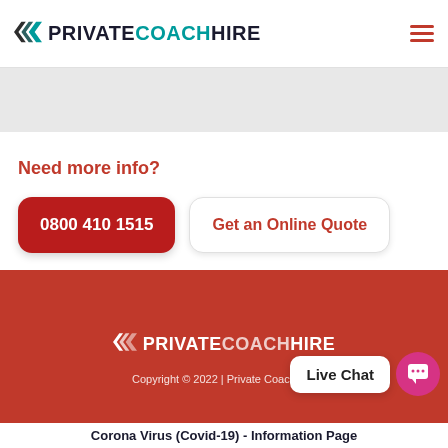PRIVATECOACHHIRE
Need more info?
0800 410 1515
Get an Online Quote
[Figure (logo): PrivateCoachHire logo in white on red footer background]
Copyright © 2022 | Private CoachHire
Corona Virus (Covid-19) - Information Page